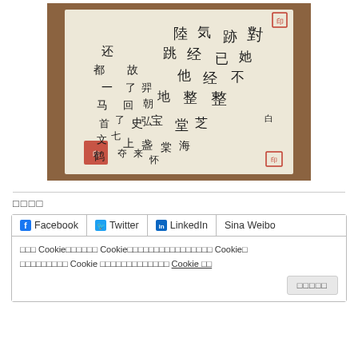[Figure (photo): A photograph of a handwritten Chinese calligraphy document on white paper, placed on a wooden table. The calligraphy is written in cursive script with two red seals visible.]
□□□□
□□□ Cookie□□□□□□ Cookie□□□□□□□□□□□□□□□□ Cookie□ □□□□□□□□□ Cookie □□□□□□□□□□□□□ Cookie □□
□□□□□